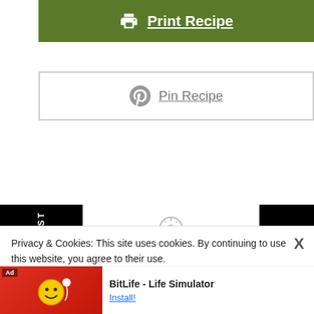[Figure (screenshot): Green Print Recipe button with printer icon and underlined text]
[Figure (screenshot): White Pin Recipe button with Pinterest P icon and underlined text, bordered]
PREVIOUS POST
NEXT POST
[Figure (infographic): Clock/timer icon above PREP TIME 15 mins, COOK TIME 12 mins, TOTAL TIME 27 mins]
[Figure (infographic): Chef hat icon above COURSE and CUISINE labels]
Privacy & Cookies: This site uses cookies. By continuing to use this website, you agree to their use.
To find out more, including how to control cookies, see here: Cookie Policy
Close and accept
[Figure (screenshot): Ad banner: BitLife - Life Simulator with red game image and Install! link]